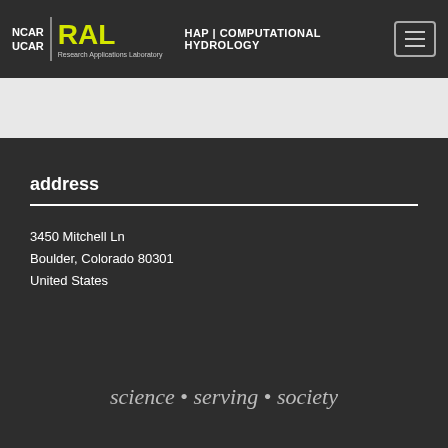NCAR UCAR | RAL Research Applications Laboratory | HAP | COMPUTATIONAL HYDROLOGY
address
3450 Mitchell Ln
Boulder, Colorado 80301
United States
science • serving • society